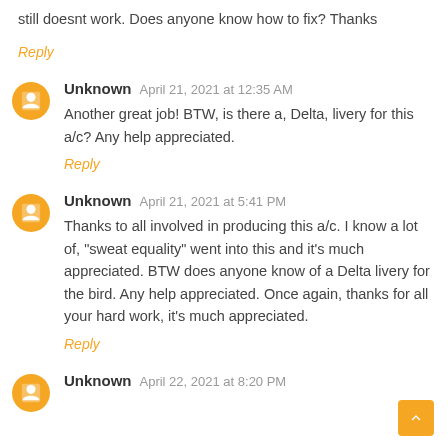still doesnt work. Does anyone know how to fix? Thanks
Reply
Unknown  April 21, 2021 at 12:35 AM
Another great job! BTW, is there a, Delta, livery for this a/c? Any help appreciated.
Reply
Unknown  April 21, 2021 at 5:41 PM
Thanks to all involved in producing this a/c. I know a lot of, "sweat equality" went into this and it's much appreciated. BTW does anyone know of a Delta livery for the bird. Any help appreciated. Once again, thanks for all your hard work, it's much appreciated.
Reply
Unknown  April 22, 2021 at 8:20 PM
Thanks...